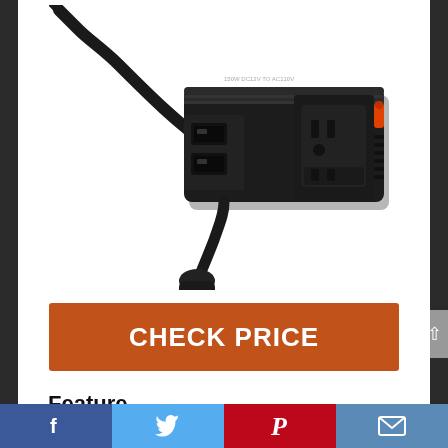[Figure (photo): Black 150W car power inverter with 2 USB ports, AC outlet, and cigarette lighter plug adapter with cable]
CHECK PRICE
Feature
Premium 150w car power inverter with 2 USB ports and AC outlets.
Facebook  Twitter  Pinterest  Email social share buttons